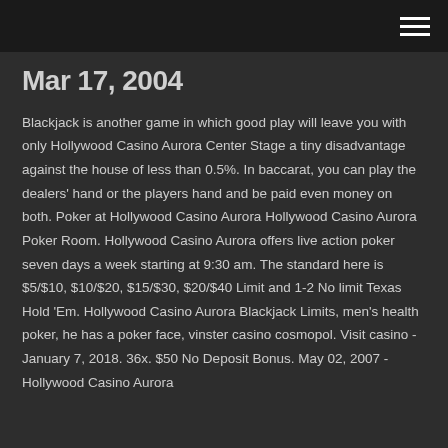Mar 17, 2004
Blackjack is another game in which good play will leave you with only Hollywood Casino Aurora Center Stage a tiny disadvantage against the house of less than 0.5%. In baccarat, you can play the dealers' hand or the players hand and be paid even money on both. Poker at Hollywood Casino Aurora Hollywood Casino Aurora Poker Room. Hollywood Casino Aurora offers live action poker seven days a week starting at 9:30 am. The standard here is $5/$10, $10/$20, $15/$30, $20/$40 Limit and 1-2 No limit Texas Hold 'Em. Hollywood Casino Aurora Blackjack Limits, men's health poker, he has a poker face, vinster casino cosmopol. Visit casino -January 7, 2018. 36x. $50 No Deposit Bonus. May 02, 2007 - Hollywood Casino Aurora